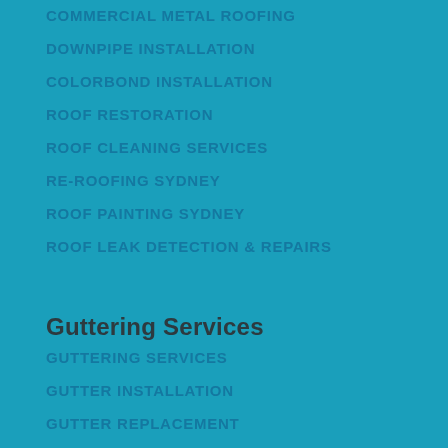COMMERCIAL METAL ROOFING
DOWNPIPE INSTALLATION
COLORBOND INSTALLATION
ROOF RESTORATION
ROOF CLEANING SERVICES
RE-ROOFING SYDNEY
ROOF PAINTING SYDNEY
ROOF LEAK DETECTION & REPAIRS
Guttering Services
GUTTERING SERVICES
GUTTER INSTALLATION
GUTTER REPLACEMENT
GUTTER REPAIR
GUTTER CLEANING
CORRUGATED ROOFING SYDNEY